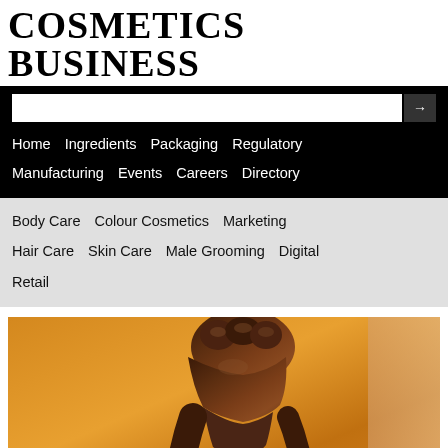COSMETICS BUSINESS
Home  Ingredients  Packaging  Regulatory  Manufacturing  Events  Careers  Directory
Body Care  Colour Cosmetics  Marketing  Hair Care  Skin Care  Male Grooming  Digital  Retail
[Figure (photo): A dark-skinned hand squeezing or dripping honey/oil against an amber/orange background, with the liquid dripping downward. A second lighter-skinned person is partially visible on the right edge.]